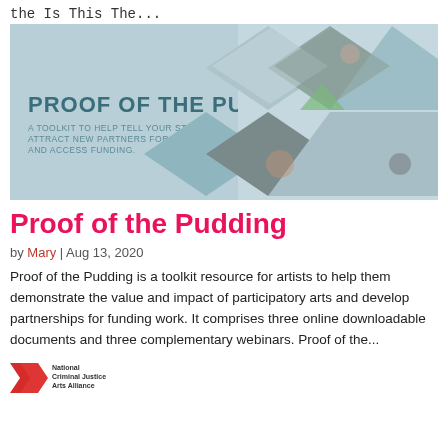the Is This The...
[Figure (illustration): Proof of the Pudding toolkit banner image with diamond/chevron photo collage showing people engaged in arts activities. Text reads: PROOF OF THE PUDDING — A TOOLKIT TO HELP TELL YOUR STORY, ATTRACT NEW PARTNERS FOR YOUR WORK AND ACCESS FUNDING.]
Proof of the Pudding
by Mary | Aug 13, 2020
Proof of the Pudding is a toolkit resource for artists to help them demonstrate the value and impact of participatory arts and develop partnerships for funding work. It comprises three online downloadable documents and three complementary webinars. Proof of the...
[Figure (logo): National Criminal Justice Arts Alliance logo — red chevron/arrow shape with text 'National Criminal Justice Arts Alliance']